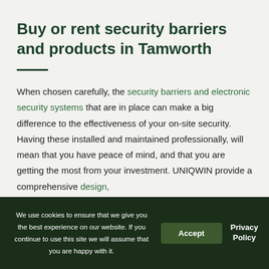Buy or rent security barriers and products in Tamworth
When chosen carefully, the security barriers and electronic security systems that are in place can make a big difference to the effectiveness of your on-site security. Having these installed and maintained professionally, will mean that you have peace of mind, and that you are getting the most from your investment. UNIQWIN provide a comprehensive design,
We use cookies to ensure that we give you the best experience on our website. If you continue to use this site we will assume that you are happy with it.